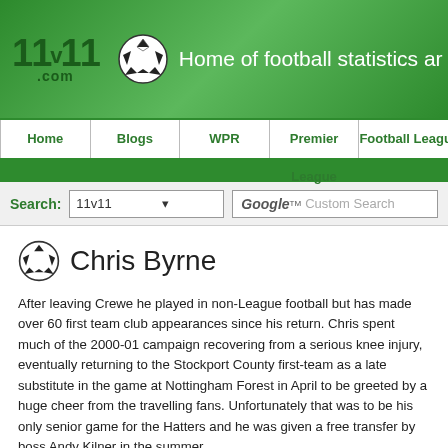11v11.com — Home of football statistics a...
Home | Blogs | WPR | Premier League | Football League
Chris Byrne
After leaving Crewe he played in non-League football but has made over 60 first team club appearances since his return. Chris spent much of the 2000-01 campaign recovering from a serious knee injury, eventually returning to the Stockport County first-team as a late substitute in the game at Nottingham Forest in April to be greeted by a huge cheer from the travelling fans. Unfortunately that was to be his only senior game for the Hatters and he was given a free transfer by boss Andy Kilner in the summer.
A pacy skilful midfield player, Chris subsequently joined Macclesfield Town up to his Silkmen contract being terminated in March 2003.